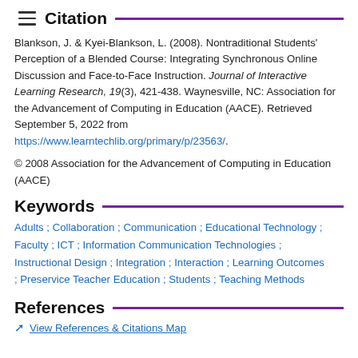Citation
Blankson, J. & Kyei-Blankson, L. (2008). Nontraditional Students' Perception of a Blended Course: Integrating Synchronous Online Discussion and Face-to-Face Instruction. Journal of Interactive Learning Research, 19(3), 421-438. Waynesville, NC: Association for the Advancement of Computing in Education (AACE). Retrieved September 5, 2022 from https://www.learntechlib.org/primary/p/23563/.
© 2008 Association for the Advancement of Computing in Education (AACE)
Keywords
Adults ; Collaboration ; Communication ; Educational Technology ; Faculty ; ICT ; Information Communication Technologies ; Instructional Design ; Integration ; Interaction ; Learning Outcomes ; Preservice Teacher Education ; Students ; Teaching Methods
References
View References & Citations Map